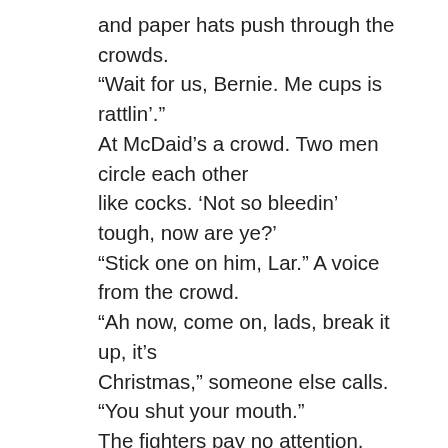and paper hats push through the crowds.
“Wait for us, Bernie. Me cups is rattlin’.”
At McDaid’s a crowd. Two men circle each other like cocks. ‘Not so bleedin’ tough, now are ye?’
“Stick one on him, Lar.” A voice from the crowd.
“Ah now, come on, lads, break it up, it’s Christmas,” someone else calls.
“You shut your mouth.”
The fighters pay no attention. Fierce in their war of stares.
So many pubs. So many pints. So few Christmases. Only Joe and me left now. Half past eleven. A snake of a queue outside the chipper, melancholy from celebration.
“Give us two large cod and chips, please.”